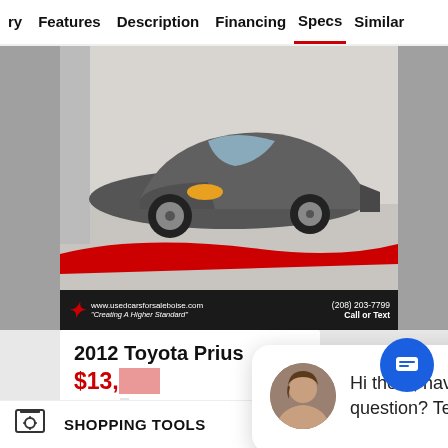ry   Features   Description   Financing   Specs   Similar
[Figure (photo): 2012 Toyota Prius car photo in a dealership showroom, gray color, front 3/4 view. Dealer branding at bottom: usedcarsforsaleboise.com, (208) 203-7799 Call or Text, 'Creating A Higher Standard']
2012 Toyota Prius
$13,…
148,93…
Hi there, have a question? Text us here.
SHOPPING TOOLS